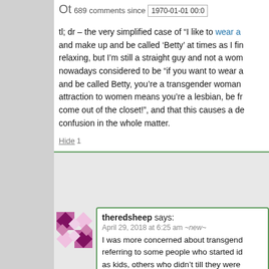689 comments since 1970-01-01 00:0
tl; dr – the very simplified case of “I like to wear a and make up and be called ‘Betty’ at times as I find relaxing, but I’m still a straight guy and not a wom nowadays considered to be “if you want to wear a and be called Betty, you’re a transgender woman attraction to women means you’re a lesbian, be fr come out of the closet!”, and that this causes a de confusion in the whole matter.
Hide 1
theredsheep says:
April 29, 2018 at 6:25 am ~new~
I was more concerned about transgend referring to some people who started id as kids, others who didn’t till they were others who ‘discovered’ they’d been re